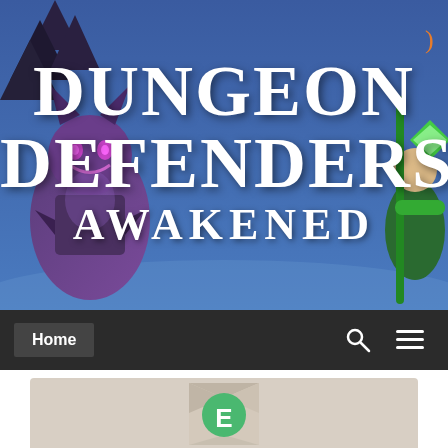[Figure (screenshot): Dungeon Defenders Awakened game banner with blue sky background, villain character on left, archer on right, and white decorative text reading DUNGEON DEFENDERS AWAKENED]
Home
[Figure (logo): ESRB rating badge showing E (Everyone) in a green circle on a light grey/tan geometric polygon background]